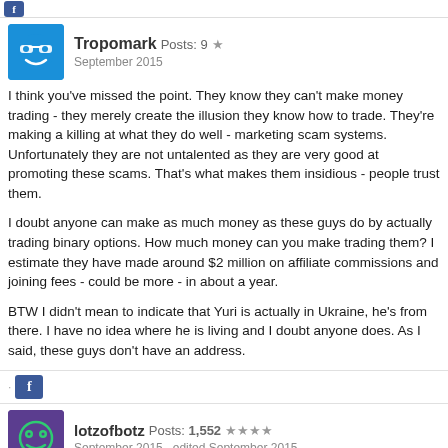[Figure (other): Small Facebook icon/button at top]
Tropomark Posts: 9 ★ September 2015
I think you've missed the point. They know they can't make money trading - they merely create the illusion they know how to trade. They're making a killing at what they do well - marketing scam systems. Unfortunately they are not untalented as they are very good at promoting these scams. That's what makes them insidious - people trust them.

I doubt anyone can make as much money as these guys do by actually trading binary options. How much money can you make trading them? I estimate they have made around $2 million on affiliate commissions and joining fees - could be more - in about a year.

BTW I didn't mean to indicate that Yuri is actually in Ukraine, he's from there. I have no idea where he is living and I doubt anyone does. As I said, these guys don't have an address.
[Figure (other): Facebook share icon/button]
lotzofbotz Posts: 1,552 ★★★★ September 2015 edited September 2015